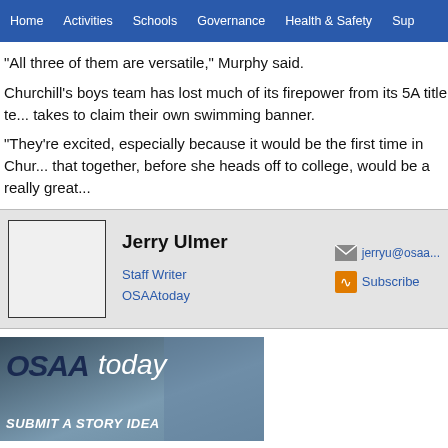Home | Activities | Schools | Governance | Health & Safety | Sup...
“All three of them are versatile,” Murphy said.
Churchill’s boys team has lost much of its firepower from its 5A title te... takes to claim their own swimming banner.
“They’re excited, especially because it would be the first time in Chur... that together, before she heads off to college, would be a really great...
Jerry Ulmer
Staff Writer
OSAAtoday
[Figure (logo): OSAAtoday Submit a Story Idea banner advertisement with team photo background]